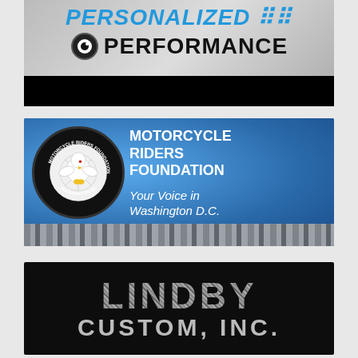[Figure (advertisement): Personalized Performance ad with blue text headline and black eye icon, motorcycle parts background, black bar at bottom]
[Figure (advertisement): Motorcycle Riders Foundation ad with blue denim background, eagle logo in black circle, white text reading 'MOTORCYCLE RIDERS FOUNDATION - Your Voice in Washington D.C.', chain border at bottom]
[Figure (advertisement): Lindby Custom, Inc. ad with black background, metallic diamond-plate style text reading 'LINDBY CUSTOM, INC.']